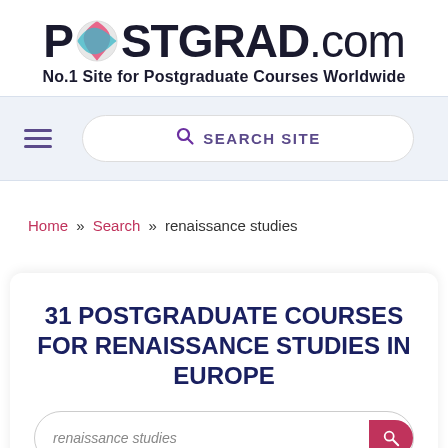[Figure (logo): POSTGRAD.com logo with globe icon and tagline 'No.1 Site for Postgraduate Courses Worldwide']
[Figure (screenshot): Navigation bar with hamburger menu and 'SEARCH SITE' search box]
Home » Search » renaissance studies
31 POSTGRADUATE COURSES FOR RENAISSANCE STUDIES IN EUROPE
renaissance studies